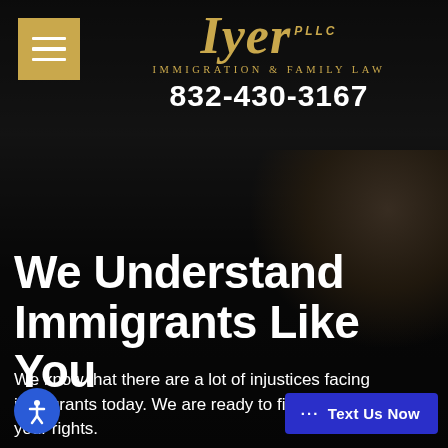[Figure (photo): Dark background photo showing a person holding small American flags, with a law firm header overlay]
Iyer PLLC Immigration & Family Law
832-430-3167
We Understand Immigrants Like You
We know that there are a lot of injustices facing immigrants today. We are ready to fight for you and your rights.
··· Text Us Now